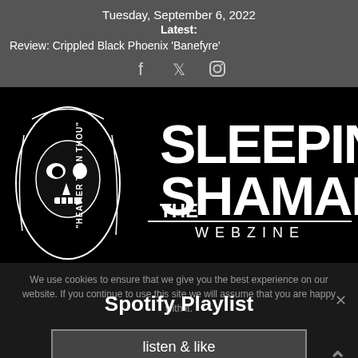Tuesday, September 6, 2022
Latest:
Review: Crippled Black Phoenix 'Banefyre'
[Figure (logo): The Sleeping Shaman Webzine logo — large white bold text reading SLEEPING SHAMAN with THE above SHAMAN, tagline 'HEAVIER THAN THOU' vertical on left, and a hooded skull illustration on the left side, all on black background]
We use cookies to ensure that we give you the best experience on our website. If you continue to use this site we will assume that you are happy with it.
Spotify Playlist
listen & like